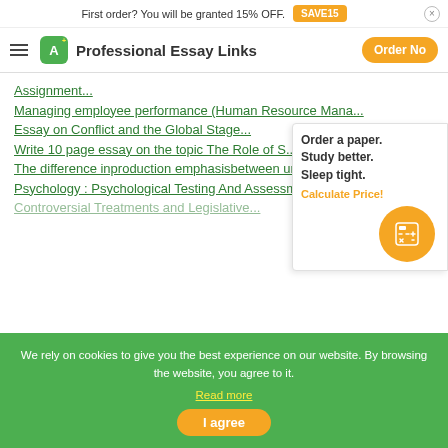First order? You will be granted 15% OFF. SAVE15
Professional Essay Links | Order Now
Assignment...
Managing employee performance (Human Resource Mana...
Essay on Conflict and the Global Stage...
Write 10 page essay on the topic The Role of S...
The difference inproduction emphasisbetween unsust...
Psychology : Psychological Testing And Assessment...
Controversial Treatments and Legislative...
[Figure (infographic): Side popup: Order a paper. Study better. Sleep tight. Calculate Price! with orange calculator circle icon]
We rely on cookies to give you the best experience on our website. By browsing the website, you agree to it. Read more
I agree